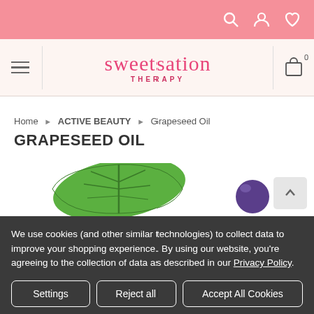Sweetsation Therapy — navigation bar with search, account, wishlist icons
[Figure (logo): Sweetsation Therapy logo with pink serif wordmark and THERAPY subtitle]
Home › ACTIVE BEAUTY › Grapeseed Oil
GRAPESEED OIL
[Figure (photo): Grapeseed product page with green leaf and dark grape on white background]
We use cookies (and other similar technologies) to collect data to improve your shopping experience. By using our website, you're agreeing to the collection of data as described in our Privacy Policy.
Settings
Reject all
Accept All Cookies